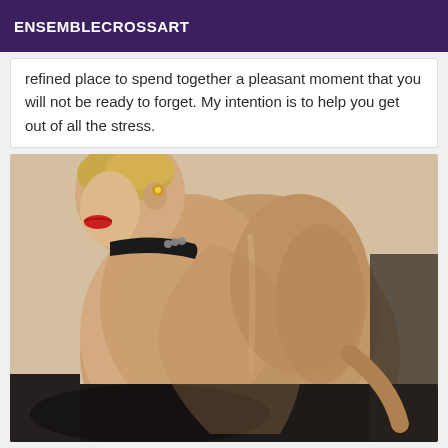ENSEMBLECROSSART
refined place to spend together a pleasant moment that you will not be ready to forget. My intention is to help you get out of all the stress.
[Figure (photo): Person shown from behind, shirtless, wearing a black leather studded collar, with short blonde hair and red lipstick, posed against a dark background.]